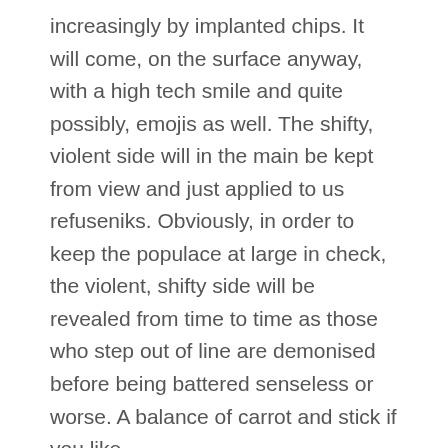increasingly by implanted chips. It will come, on the surface anyway, with a high tech smile and quite possibly, emojis as well. The shifty, violent side will in the main be kept from view and just applied to us refuseniks. Obviously, in order to keep the populace at large in check, the violent, shifty side will be revealed from time to time as those who step out of line are demonised before being battered senseless or worse. A balance of carrot and stick if you like...
Conclusion
Our fear is that as things increasingly break down and as social tensions rise as a consequence, many people, probably not a majority but a b enough minority to swing things, will happily